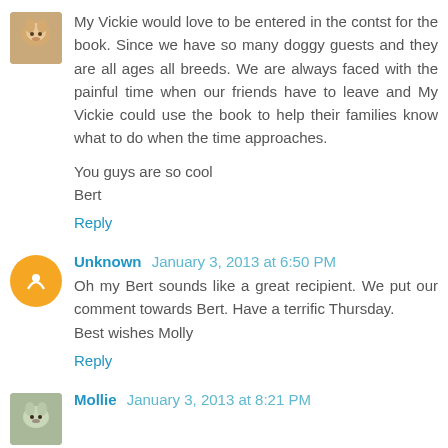My Vickie would love to be entered in the contst for the book. Since we have so many doggy guests and they are all ages all breeds. We are always faced with the painful time when our friends have to leave and My Vickie could use the book to help their families know what to do when the time approaches.

You guys are so cool
Bert
Reply
Unknown January 3, 2013 at 6:50 PM
Oh my Bert sounds like a great recipient. We put our comment towards Bert. Have a terrific Thursday.
Best wishes Molly
Reply
Mollie January 3, 2013 at 8:21 PM